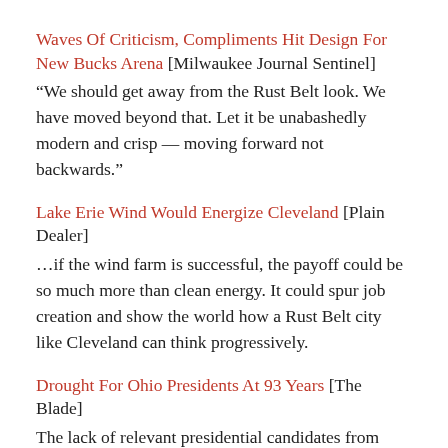Waves Of Criticism, Compliments Hit Design For New Bucks Arena [Milwaukee Journal Sentinel]
“We should get away from the Rust Belt look. We have moved beyond that. Let it be unabashedly modern and crisp — moving forward not backwards.”
Lake Erie Wind Would Energize Cleveland [Plain Dealer]
…if the wind farm is successful, the payoff could be so much more than clean energy. It could spur job creation and show the world how a Rust Belt city like Cleveland can think progressively.
Drought For Ohio Presidents At 93 Years [The Blade]
The lack of relevant presidential candidates from Ohio has coincided with the Rust Belt and Midwest’s diminished prestige. Eight of the past nine presidents have hailed from